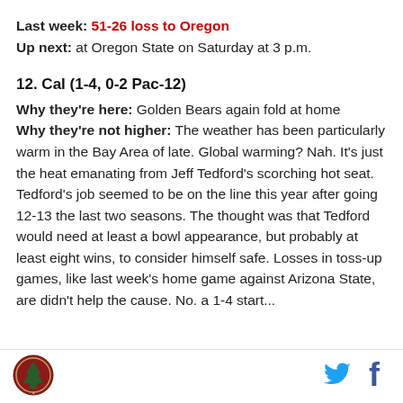Last week: 51-26 loss to Oregon
Up next: at Oregon State on Saturday at 3 p.m.
12. Cal (1-4, 0-2 Pac-12)
Why they're here: Golden Bears again fold at home
Why they're not higher: The weather has been particularly warm in the Bay Area of late. Global warming? Nah. It's just the heat emanating from Jeff Tedford's scorching hot seat. Tedford's job seemed to be on the line this year after going 12-13 the last two seasons. The thought was that Tedford would need at least a bowl appearance, but probably at least eight wins, to consider himself safe. Losses in toss-up games, like last week's home game against Arizona State, are didn't help the cause. Now a 1-4 start...
[Figure (logo): SB Nation circular logo with tree graphic]
[Figure (logo): Twitter bird icon in blue]
[Figure (logo): Facebook f icon in dark blue]